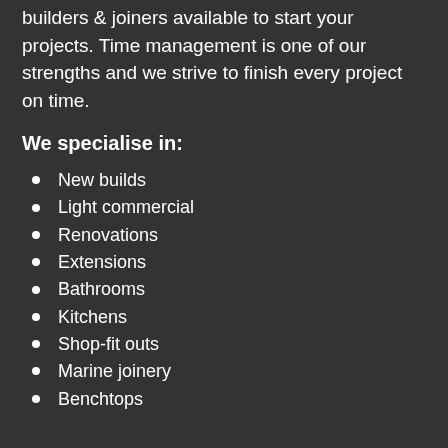builders & joiners available to start your projects. Time management is one of our strengths and we strive to finish every project on time.
We specialise in:
New builds
Light commercial
Renovations
Extensions
Bathrooms
Kitchens
Shop-fit outs
Marine joinery
Benchtops